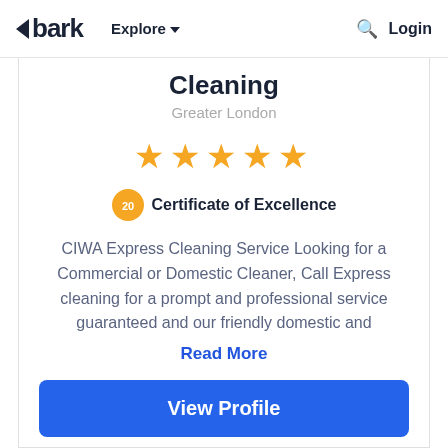bark   Explore   Login
Cleaning
Greater London
[Figure (other): Five gold star rating icons]
Certificate of Excellence
CIWA Express Cleaning Service Looking for a Commercial or Domestic Cleaner, Call Express cleaning for a prompt and professional service guaranteed and our friendly domestic and
Read More
View Profile